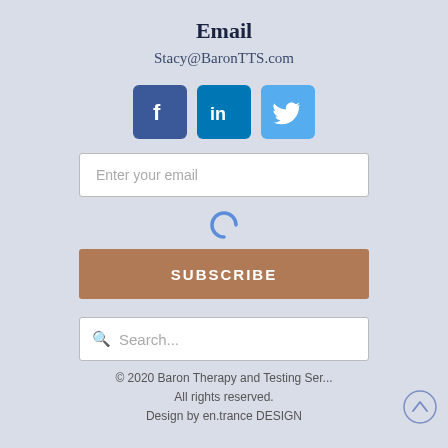Email
Stacy@BaronTTS.com
[Figure (illustration): Three social media icons: Facebook (dark blue), LinkedIn (blue), Twitter (light blue)]
[Figure (other): Email input field with placeholder text 'Enter your email']
[Figure (other): Loading spinner icon (blue partial circle)]
[Figure (other): Subscribe button in tan/brown color with white uppercase text 'SUBSCRIBE']
[Figure (other): Search box with magnifying glass icon and placeholder text 'Search...']
© 2020 Baron Therapy and Testing Ser... All rights reserved. Design by en.trance DESIGN